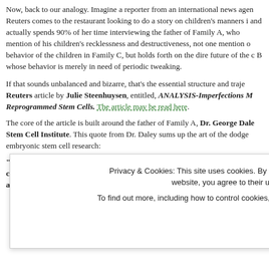Now, back to our analogy. Imagine a reporter from an international news agency like Reuters comes to the restaurant looking to do a story on children's manners in restaurants and actually spends 90% of her time interviewing the father of Family A, who makes no mention of his children's recklessness and destructiveness, not one mention of the appalling behavior of the children in Family C, but holds forth on the dire future of the children in Family B whose behavior is merely in need of periodic tweaking.
If that sounds unbalanced and bizarre, that's the essential structure and trajectory of a Reuters article by Julie Steenhuysen, entitled, ANALYSIS-Imperfections May Limit Reprogrammed Stem Cells. The article may be read here.
The core of the article is built around the father of Family A, Dr. George Daley of the Harvard Stem Cell Institute. This quote from Dr. Daley sums up the art of the dodge being used to prop up embryonic stem cell research:
"It has not ever been a scientifically driven argument that iPS cells are a complete substitute for embryonic stem cells," Daley said. "Those arguments were always made based on political and religious opposition to embryonic stem
Privacy & Cookies: This site uses cookies. By continuing to use this website, you agree to their use.
To find out more, including how to control cookies, see here: Cookie Policy
Close and accept